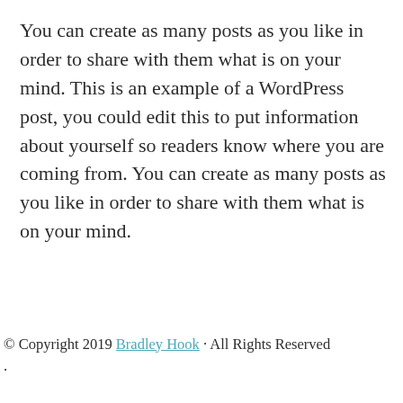You can create as many posts as you like in order to share with them what is on your mind. This is an example of a WordPress post, you could edit this to put information about yourself so readers know where you are coming from. You can create as many posts as you like in order to share with them what is on your mind.
© Copyright 2019 Bradley Hook · All Rights Reserved .